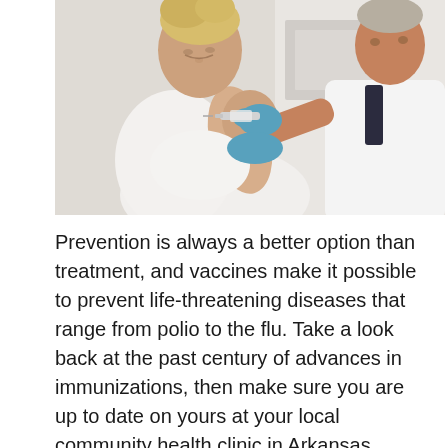[Figure (photo): A doctor in a white coat wearing blue latex gloves administering a vaccine injection into the upper arm of a woman in a white t-shirt. The woman is looking down at her arm. Clinical background visible.]
Prevention is always a better option than treatment, and vaccines make it possible to prevent life-threatening diseases that range from polio to the flu. Take a look back at the past century of advances in immunizations, then make sure you are up to date on yours at your local community health clinic in Arkansas. … [Read more…]